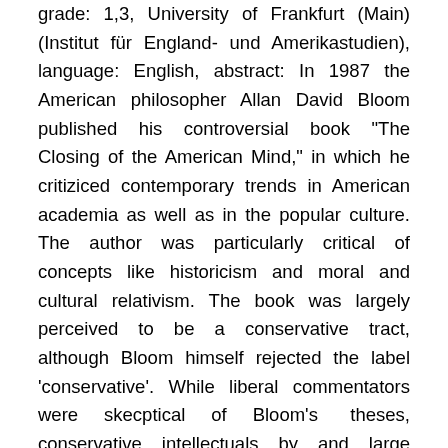grade: 1,3, University of Frankfurt (Main) (Institut für England- und Amerikastudien), language: English, abstract: In 1987 the American philosopher Allan David Bloom published his controversial book "The Closing of the American Mind," in which he critiziced contemporary trends in American academia as well as in the popular culture. The author was particularly critical of concepts like historicism and moral and cultural relativism. The book was largely perceived to be a conservative tract, although Bloom himself rejected the label 'conservative'. While liberal commentators were skecptical of Bloom's theses, conservative intellectuals by and large praised the book. The conflict laid bare here was—and is—a battle between political forces for cultural sovereignty, especially in the universities, the commanding heights of American intellectual